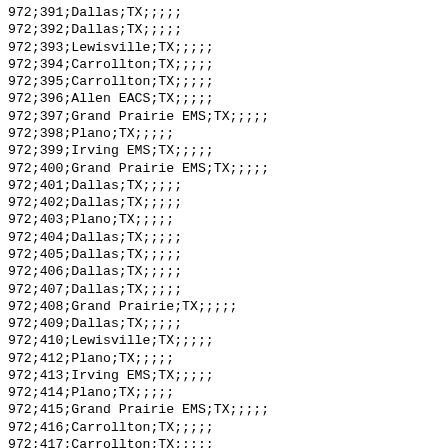972;391;Dallas;TX;;;;;\n972;392;Dallas;TX;;;;;\n972;393;Lewisville;TX;;;;;\n972;394;Carrollton;TX;;;;;\n972;395;Carrollton;TX;;;;;\n972;396;Allen EACS;TX;;;;;\n972;397;Grand Prairie EMS;TX;;;;;\n972;398;Plano;TX;;;;;\n972;399;Irving EMS;TX;;;;;\n972;400;Grand Prairie EMS;TX;;;;;\n972;401;Dallas;TX;;;;;\n972;402;Dallas;TX;;;;;\n972;403;Plano;TX;;;;;\n972;404;Dallas;TX;;;;;\n972;405;Dallas;TX;;;;;\n972;406;Dallas;TX;;;;;\n972;407;Dallas;TX;;;;;\n972;408;Grand Prairie;TX;;;;;\n972;409;Dallas;TX;;;;;\n972;410;Lewisville;TX;;;;;\n972;412;Plano;TX;;;;;\n972;413;Irving EMS;TX;;;;;\n972;414;Plano;TX;;;;;\n972;415;Grand Prairie EMS;TX;;;;;\n972;416;Carrollton;TX;;;;;\n972;417;Carrollton;TX;;;;;\n972;418;Carrollton;TX;;;;;\n972;419;Dallas;TX;;;;;\n972;420;Lewisville;TX;;;;;\n972;421;Dallas;TX;;;;;